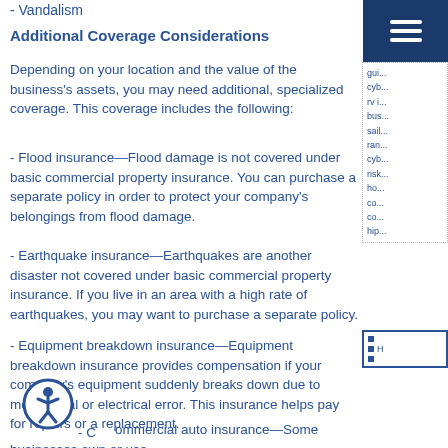- Vandalism
Additional Coverage Considerations
Depending on your location and the value of the business's assets, you may need additional, specialized coverage. This coverage includes the following:
- Flood insurance—Flood damage is not covered under basic commercial property insurance. You can purchase a separate policy in order to protect your company's belongings from flood damage.
- Earthquake insurance—Earthquakes are another disaster not covered under basic commercial property insurance. If you live in an area with a high rate of earthquakes, you may want to purchase a separate policy.
- Equipment breakdown insurance—Equipment breakdown insurance provides compensation if your company's equipment suddenly breaks down due to mechanical or electrical error. This insurance helps pay for repairs or a replacement.
- Commercial auto insurance—Some businesses own or use commercial vehicles for work purposes. Commercial property policies will not cover work vehicles, so it's crucial to have the right coverage in the event a commercial vehicle is lost or